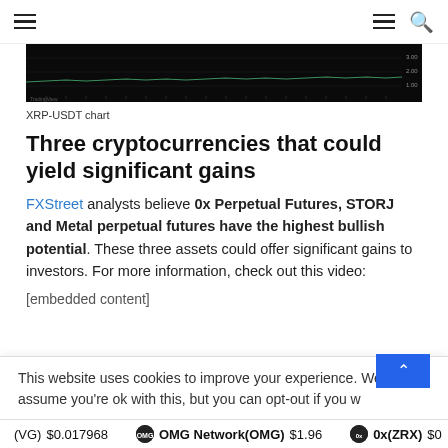≡  ≡ 🔍
[Figure (screenshot): XRP-USDT dark-background price chart showing a nearly flat line with small values on the right y-axis]
XRP-USDT chart
Three cryptocurrencies that could yield significant gains
FXStreet analysts believe 0x Perpetual Futures, STORJ and Metal perpetual futures have the highest bullish potential. These three assets could offer significant gains to investors. For more information, check out this video:
[embedded content]
This website uses cookies to improve your experience. We'll assume you're ok with this, but you can opt-out if you w
(VG) $0.017968   OMG Network(OMG) $1.96   0x(ZRX) $0